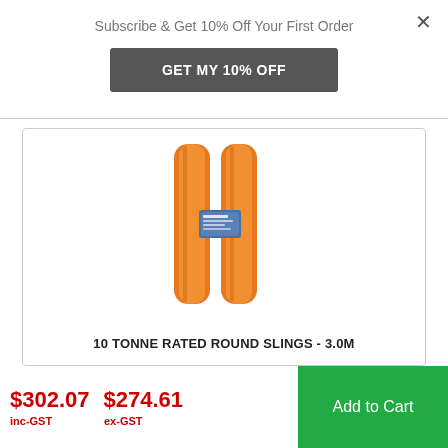Subscribe & Get 10% Off Your First Order
GET MY 10% OFF
[Figure (photo): Orange round sling lifting straps, two parallel vertical straps with blue label/tag in the middle]
10 TONNE RATED ROUND SLINGS - 3.0M
$302.07 inc-GST   $274.61 ex-GST
Add to Cart